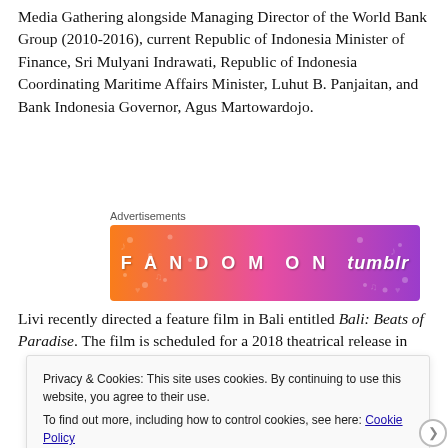Media Gathering alongside Managing Director of the World Bank Group (2010-2016), current Republic of Indonesia Minister of Finance, Sri Mulyani Indrawati, Republic of Indonesia Coordinating Maritime Affairs Minister, Luhut B. Panjaitan, and Bank Indonesia Governor, Agus Martowardojo.
Advertisements
[Figure (illustration): Fandom on Tumblr advertisement banner with orange-to-purple gradient background and decorative music/heart doodles]
Livi recently directed a feature film in Bali entitled Bali: Beats of Paradise. The film is scheduled for a 2018 theatrical release in
Privacy & Cookies: This site uses cookies. By continuing to use this website, you agree to their use.
To find out more, including how to control cookies, see here: Cookie Policy

Close and accept